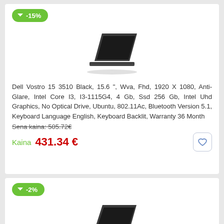[Figure (other): Green badge with down arrow and -15% discount label]
[Figure (photo): Dell Vostro 15 laptop product image, black, viewed from side-angle]
Dell Vostro 15 3510 Black, 15.6 ", Wva, Fhd, 1920 X 1080, Anti-Glare, Intel Core I3, I3-1115G4, 4 Gb, Ssd 256 Gb, Intel Uhd Graphics, No Optical Drive, Ubuntu, 802.11Ac, Bluetooth Version 5.1, Keyboard Language English, Keyboard Backlit, Warranty 36 Month
Sena kaina: 505.72€
Kaina  431.34 €
[Figure (other): Green badge with down arrow and -2% discount label]
[Figure (photo): Dell laptop product image, black, viewed from side-angle]